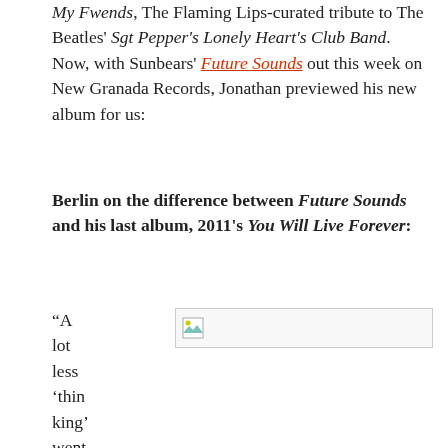My Fwends, The Flaming Lips-curated tribute to The Beatles' Sgt Pepper's Lonely Heart's Club Band. Now, with Sunbears' Future Sounds out this week on New Granada Records, Jonathan previewed his new album for us:
Berlin on the difference between Future Sounds and his last album, 2011's You Will Live Forever:
“A lot less ‘thin king’ went into Futu re Soun
[Figure (photo): Broken/missing image placeholder with landscape icon]